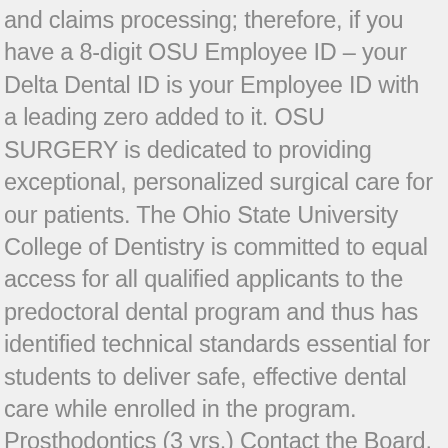and claims processing; therefore, if you have a 8-digit OSU Employee ID – your Delta Dental ID is your Employee ID with a leading zero added to it. OSU SURGERY is dedicated to providing exceptional, personalized surgical care for our patients. The Ohio State University College of Dentistry is committed to equal access for all qualified applicants to the predoctoral dental program and thus has identified technical standards essential for students to deliver safe, effective dental care while enrolled in the program. Prosthodontics (3 yrs.) Contact the Board. One of the best General Dentistry, Dental business at 305 W 12th Ave, Columbus OH, 43210. 77 S. High Street, 17th Floor Columbus, Ohio 43215-6135. There has never been a better time, nor a better place to pursue a career in dentistry. Directions and FREE PARKING information © 2021, The Ohio State University College of Dentistry If you have trouble accessing this page and need to request an alternate format, contact our webmaster. The Department of Anesthesiology is part of The Ohio State University Wexner Medical Center, and is recognized as one of the nation's top hospitals by U.S. News &